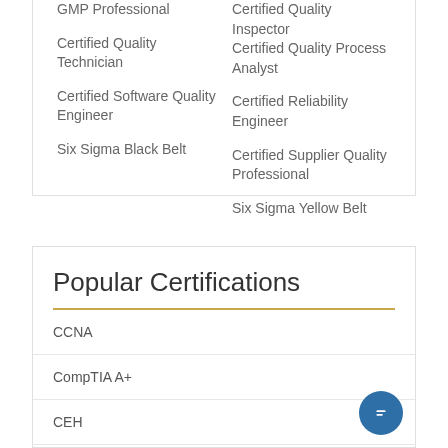GMP Professional
Certified Quality Inspector
Certified Quality Process Analyst
Certified Quality Technician
Certified Software Quality Engineer
Certified Reliability Engineer
Certified Supplier Quality Professional
Six Sigma Black Belt
Six Sigma Yellow Belt
Popular Certifications
CCNA
CompTIA A+
CEH
Google Cloud Certified